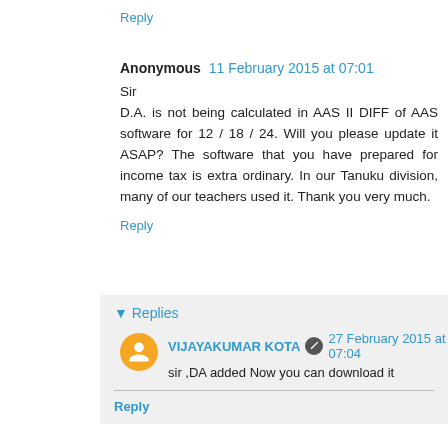Reply
Anonymous  11 February 2015 at 07:01
Sir
D.A. is not being calculated in AAS II DIFF of AAS software for 12 / 18 / 24. Will you please update it ASAP? The software that you have prepared for income tax is extra ordinary. In our Tanuku division, many of our teachers used it. Thank you very much.
Reply
Replies
VIJAYAKUMAR KOTA  27 February 2015 at 07:04
sir ,DA added Now you can download it
Reply